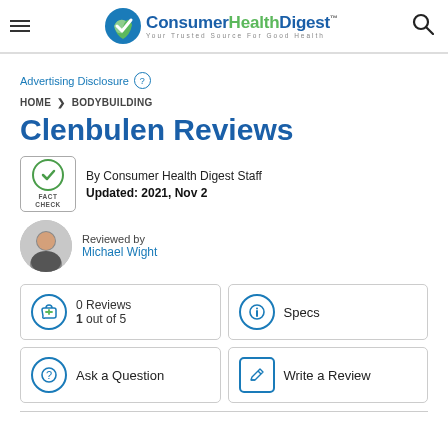Consumer Health Digest™ — Your Trusted Source For Good Health
Advertising Disclosure
HOME > BODYBUILDING
Clenbulen Reviews
By Consumer Health Digest Staff
Updated: 2021, Nov 2
Reviewed by
Michael Wight
0 Reviews
1 out of 5
Specs
Ask a Question
Write a Review